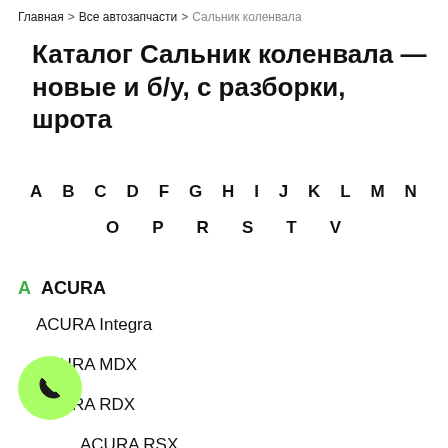Главная > Все автозапчасти > Сальник коленвала
Каталог Сальник коленвала — новые и б/у, с разборки, шрота
A B C D F G H I J K L M N O P R S T V
A ACURA
ACURA Integra
ACURA MDX
ACURA RDX
ACURA RSX
ACURA TL